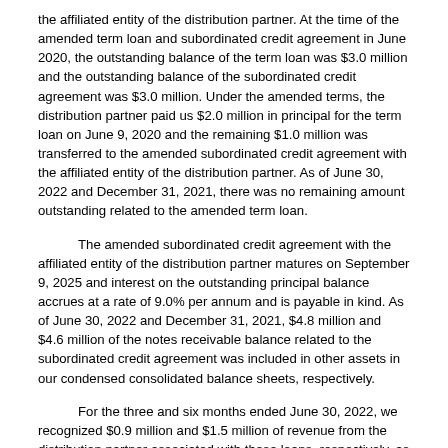the affiliated entity of the distribution partner. At the time of the amended term loan and subordinated credit agreement in June 2020, the outstanding balance of the term loan was $3.0 million and the outstanding balance of the subordinated credit agreement was $3.0 million. Under the amended terms, the distribution partner paid us $2.0 million in principal for the term loan on June 9, 2020 and the remaining $1.0 million was transferred to the amended subordinated credit agreement with the affiliated entity of the distribution partner. As of June 30, 2022 and December 31, 2021, there was no remaining amount outstanding related to the amended term loan.
The amended subordinated credit agreement with the affiliated entity of the distribution partner matures on September 9, 2025 and interest on the outstanding principal balance accrues at a rate of 9.0% per annum and is payable in kind. As of June 30, 2022 and December 31, 2021, $4.8 million and $4.6 million of the notes receivable balance related to the subordinated credit agreement was included in other assets in our condensed consolidated balance sheets, respectively.
For the three and six months ended June 30, 2022, we recognized $0.9 million and $1.5 million of revenue from the distribution partner associated with these loans, respectively, as compared to $0.9 million and $1.6 million for the same periods in the prior year.